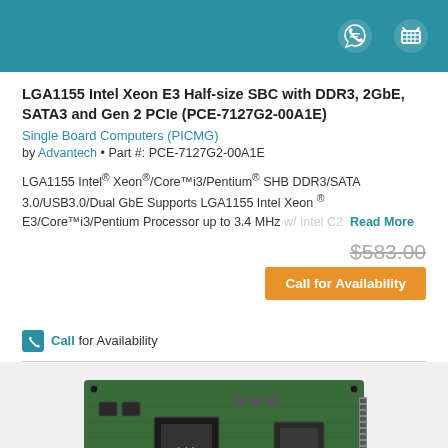LGA1155 Intel Xeon E3 Half-size SBC with DDR3, 2GbE, SATA3 and Gen 2 PCIe (PCE-7127G2-00A1E)
Single Board Computers (PICMG)
by Advantech • Part #: PCE-7127G2-00A1E
LGA1155 Intel® Xeon®/Core™i3/Pentium® SHB DDR3/SATA 3.0/USB3.0/Dual GbE Supports LGA1155 Intel Xeon ® E3/Core™i3/Pentium Processor up to 3.4 MHz w/ Intel C2   Read More
$583.00
Call for Availability
Call for Availability
[Figure (photo): Photo of LGA1155 Intel Xeon E3 Half-size single board computer PCE-7127G2-00A1E showing green PCB with Intel chip and various connectors]